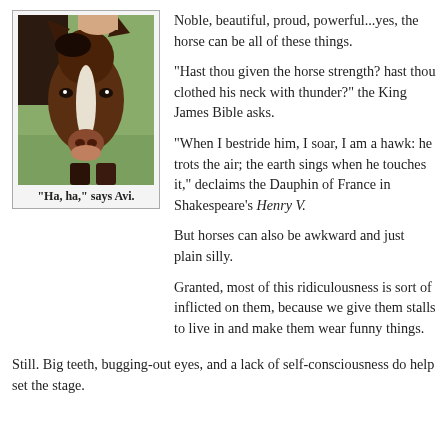[Figure (photo): Close-up photo of a horse (named Avi) facing the camera with its head lowered, showing a brown horse with a white blaze, outdoors on grass.]
"Ha, ha," says Avi.
Noble, beautiful, proud, powerful...yes, the horse can be all of these things.
"Hast thou given the horse strength? hast thou clothed his neck with thunder?" the King James Bible asks.
"When I bestride him, I soar, I am a hawk: he trots the air; the earth sings when he touches it," declaims the Dauphin of France in Shakespeare's Henry V.
But horses can also be awkward and just plain silly.
Granted, most of this ridiculousness is sort of inflicted on them, because we give them stalls to live in and make them wear funny things.
Still. Big teeth, bugging-out eyes, and a lack of self-consciousness do help set the stage.